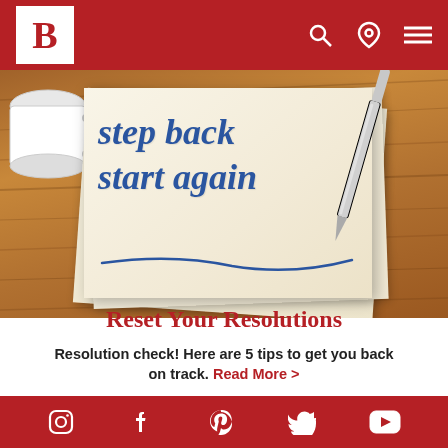Bartell's Pharmacy navigation header with logo B, search icon, location icon, menu icon
[Figure (photo): Photo of a napkin on a wooden table with text 'step back start again' written in blue italic font, with a white coffee mug in upper left and a silver pen in upper right]
Reset Your Resolutions
Resolution check! Here are 5 tips to get you back on track. Read More >
Michael C. - Bartell's Employee | February 17, 2021
Social media icons: Instagram, Facebook, Pinterest, Twitter, YouTube